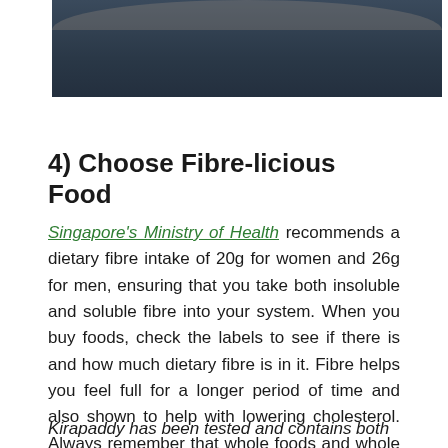[Figure (photo): Partial photo of a person wearing dark clothing, showing lower neck/upper chest area, cropped at top of page]
4) Choose Fibre-licious Food
Singapore's Ministry of Health recommends a dietary fibre intake of 20g for women and 26g for men, ensuring that you take both insoluble and soluble fibre into your system. When you buy foods, check the labels to see if there is and how much dietary fibre is in it. Fibre helps you feel full for a longer period of time and also shown to help with lowering cholesterol. Always remember that whole foods and whole grains are better than processed foods.
Kirapaddy has been tested and contains both soluble